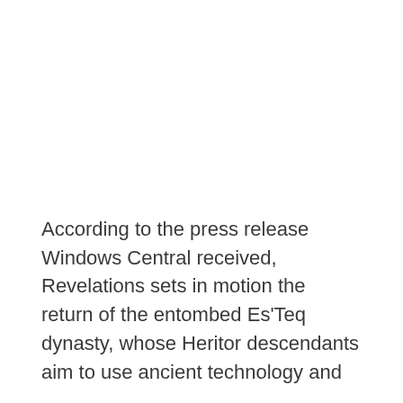According to the press release Windows Central received, Revelations sets in motion the return of the entombed Es'Teq dynasty, whose Heritor descendants aim to use ancient technology and